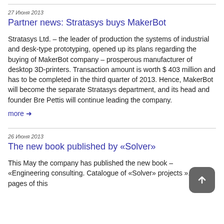27 Июня 2013
Partner news: Stratasys buys MakerBot
Stratasys Ltd. – the leader of production the systems of industrial and desk-type prototyping, opened up its plans regarding the buying of MakerBot company – prosperous manufacturer of desktop 3D-printers. Transaction amount is worth $ 403 million and has to be completed in the third quarter of 2013. Hence, MakerBot will become the separate Stratasys department, and its head and founder Bre Pettis will continue leading the company.
more →
26 Июня 2013
The new book published by «Solver»
This May the company has published the new book – «Engineering consulting. Catalogue of «Solver» projects ». 340 pages of this